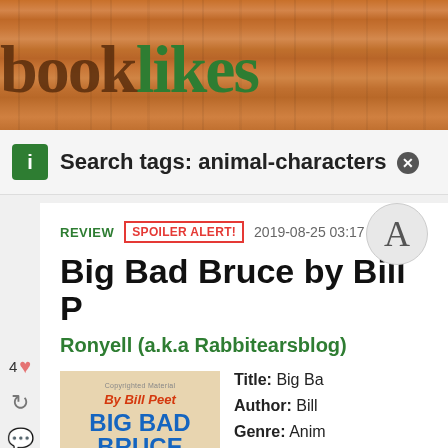[Figure (screenshot): BookLikes website logo on wood-grain textured header background]
Search tags: animal-characters ×
REVIEW   SPOILER ALERT!   2019-08-25 03:17
Big Bad Bruce by Bill P
Ronyell (a.k.a Rabbitearsblog)
[Figure (photo): Book cover of Big Bad Bruce by Bill Peet showing large blue title text]
Title: Big Ba
Author: Bill
Genre: Anim